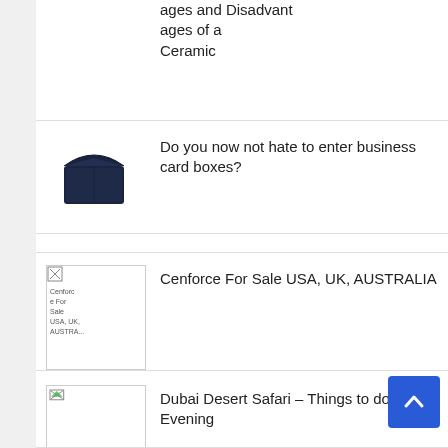ages and Disadvantages of a Ceramic
[Figure (photo): Dark navy blue business card box, open lid, viewed from slight angle]
Do you now not hate to enter business card boxes?
[Figure (photo): Cenforce For Sale USA, UK, AUSTRALIA - broken image placeholder]
Cenforce For Sale USA, UK, AUSTRALIA
[Figure (photo): Dubai Desert Safari broken image placeholder]
Dubai Desert Safari – Things to do in Evening